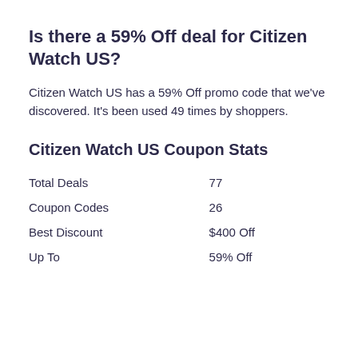Is there a 59% Off deal for Citizen Watch US?
Citizen Watch US has a 59% Off promo code that we've discovered. It's been used 49 times by shoppers.
Citizen Watch US Coupon Stats
|  |  |
| --- | --- |
| Total Deals | 77 |
| Coupon Codes | 26 |
| Best Discount | $400 Off |
| Up To | 59% Off |